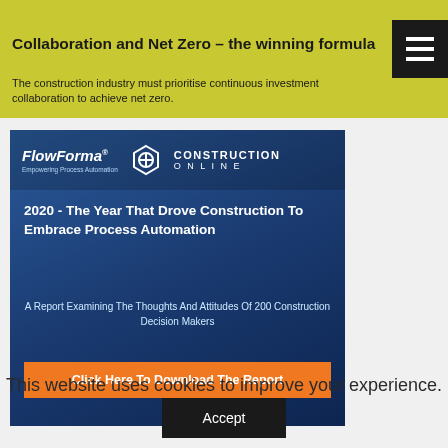[Figure (screenshot): Small image of a person at top left of yellow-green banner]
Collaboration and Net Zero – the winning formula
The construction industry must prioritise continuous investment collaboration to achieve net zero.
[Figure (illustration): Menu icon (hamburger) — three white horizontal lines on black background]
[Figure (infographic): FlowForma + Construction Online advertisement banner. Title: 2020 - The Year That Drove Construction To Embrace Process Automation. Subtitle: A Report Examining The Thoughts And Attitudes Of 200 Construction Decision Makers. Button: Click Here To Download The Report]
This website uses cookies to improve your experience.
Accept